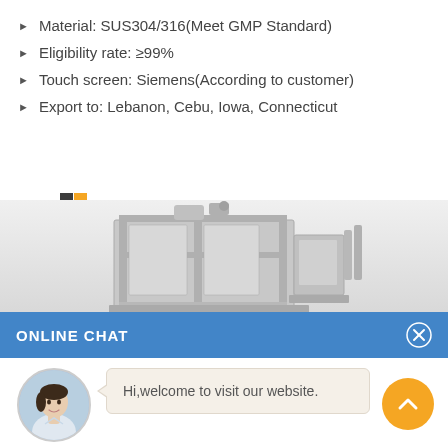Material: SUS304/316(Meet GMP Standard)
Eligibility rate: ≥99%
Touch screen: Siemens(According to customer)
Export to: Lebanon, Cebu, Iowa, Connecticut
[Figure (logo): NnPACK logo with orange and dark square grid icons]
[Figure (photo): Industrial packaging machine, stainless steel, on grey gradient background]
ONLINE CHAT
[Figure (photo): Avatar of Cilina, a female customer service representative]
Hi,welcome to visit our website.
Cilina